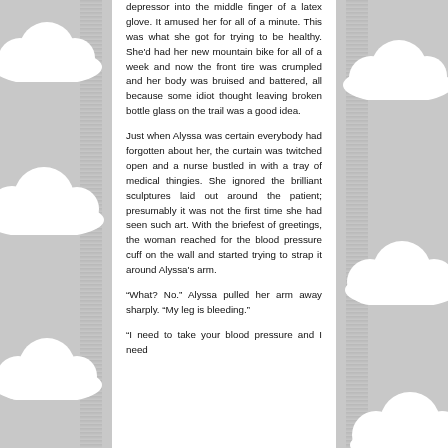depressor into the middle finger of a latex glove. It amused her for all of a minute. This was what she got for trying to be healthy. She'd had her new mountain bike for all of a week and now the front tire was crumpled and her body was bruised and battered, all because some idiot thought leaving broken bottle glass on the trail was a good idea.
Just when Alyssa was certain everybody had forgotten about her, the curtain was twitched open and a nurse bustled in with a tray of medical thingies. She ignored the brilliant sculptures laid out around the patient; presumably it was not the first time she had seen such art. With the briefest of greetings, the woman reached for the blood pressure cuff on the wall and started trying to strap it around Alyssa's arm.
“What? No.” Alyssa pulled her arm away sharply. “My leg is bleeding.”
“I need to take your blood pressure and I need